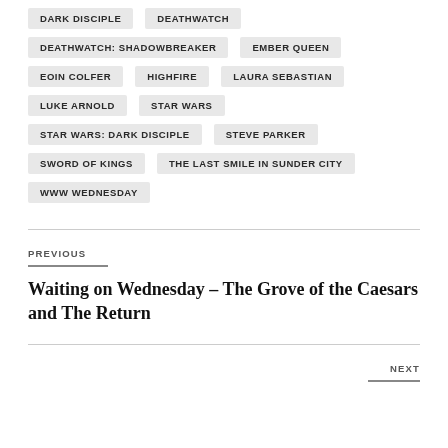DARK DISCIPLE
DEATHWATCH
DEATHWATCH: SHADOWBREAKER
EMBER QUEEN
EOIN COLFER
HIGHFIRE
LAURA SEBASTIAN
LUKE ARNOLD
STAR WARS
STAR WARS: DARK DISCIPLE
STEVE PARKER
SWORD OF KINGS
THE LAST SMILE IN SUNDER CITY
WWW WEDNESDAY
PREVIOUS
Waiting on Wednesday – The Grove of the Caesars and The Return
NEXT